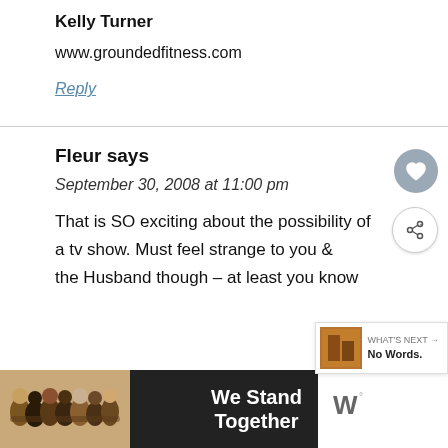Kelly Turner
www.groundedfitness.com
Reply
Fleur says
September 30, 2008 at 11:00 pm
That is SO exciting about the possibility of a tv show. Must feel strange to you the Husband though – at least you know
[Figure (infographic): Ad banner at bottom reading 'We Stand Together' with a group photo of people with arms around each other, and a close button (X). A Tidal logo icon is shown on the far right.]
[Figure (infographic): What's Next widget showing a small image and text 'No Words.' with an arrow.]